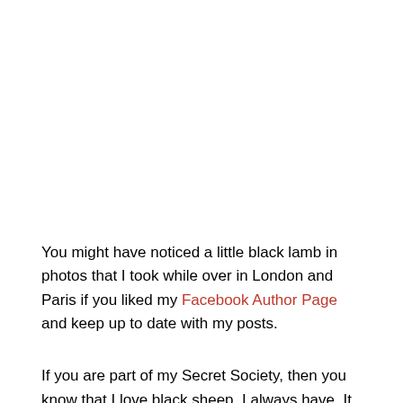You might have noticed a little black lamb in photos that I took while over in London and Paris if you liked my Facebook Author Page and keep up to date with my posts.
If you are part of my Secret Society, then you know that I love black sheep. I always have. It all goes back to when I was a teenager and in Scotland...the moment I saw little black lambs in the field I was in